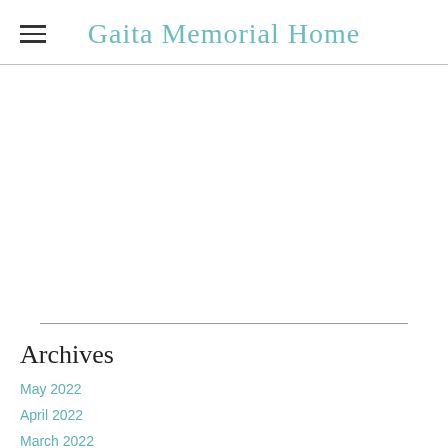Gaita Memorial Home
Archives
May 2022
April 2022
March 2022
February 2022
January 2022